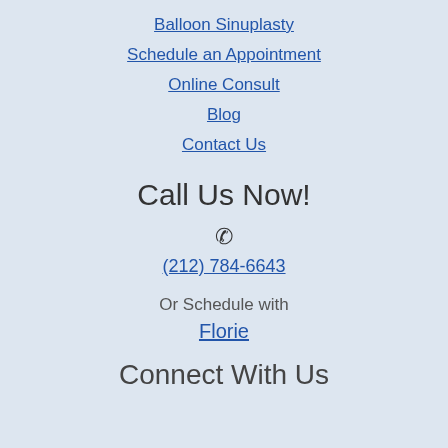Balloon Sinuplasty
Schedule an Appointment
Online Consult
Blog
Contact Us
Call Us Now!
☎
(212) 784-6643
Or Schedule with Florie
Connect With Us